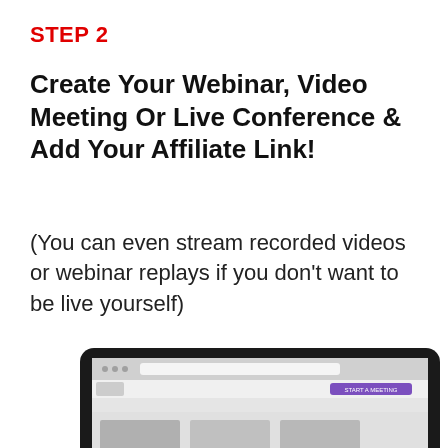STEP 2
Create Your Webinar, Video Meeting Or Live Conference & Add Your Affiliate Link!
(You can even stream recorded videos or webinar replays if you don’t want to be live yourself)
[Figure (screenshot): Laptop computer showing a webinar/meeting platform interface with a purple 'Start a Meeting' button visible on screen]